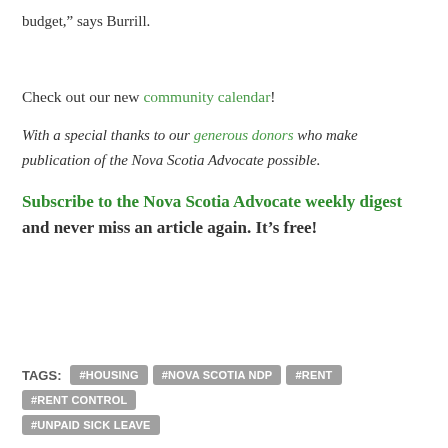budget,” says Burrill.
Check out our new community calendar!
With a special thanks to our generous donors who make publication of the Nova Scotia Advocate possible.
Subscribe to the Nova Scotia Advocate weekly digest and never miss an article again. It’s free!
TAGS: #HOUSING #NOVA SCOTIA NDP #RENT #RENT CONTROL #UNPAID SICK LEAVE